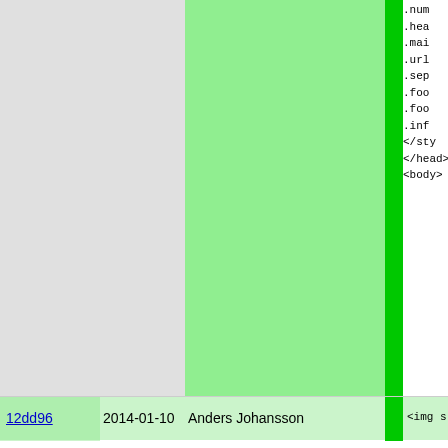| hash | date | author | bar | code |
| --- | --- | --- | --- | --- |
|  |  |  |  | .num |
|  |  |  |  | .hea |
|  |  |  |  | .mai |
|  |  |  |  | .url |
|  |  |  |  | .sep |
|  |  |  |  | .foo |
|  |  |  |  | .foo |
|  |  |  |  | .inf |
|  |  |  |  | </styl |
|  |  |  |  | </head> |
|  |  |  |  | <body> |
| 12dd96 | 2014-01-10 | Anders Johansson |  | <img s |
| 98696c | 2014-01-09 | Anders Johansson |  | <div c |
| 12dd96 | 2014-01-10 | Anders Johansson |  | <img |
| 98696c | 2014-01-09 | Anders Johansson |  | <p>U
<p>I
    t
    <
    <
</p>
<div
  <i
  <s


</ |
| 3762da | 2004-04-17 | Jonas Wallden |  | </di |